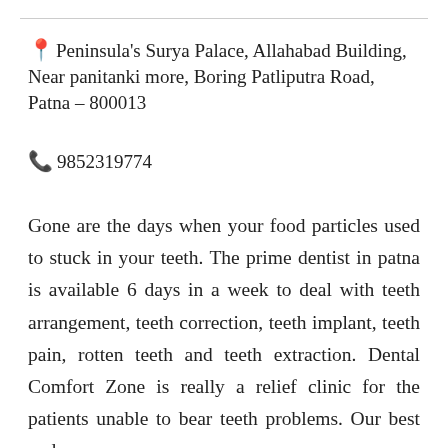📍 Peninsula's Surya Palace, Allahabad Building, Near panitanki more, Boring Patliputra Road, Patna – 800013
📞 9852319774
Gone are the days when your food particles used to stuck in your teeth. The prime dentist in patna is available 6 days in a week to deal with teeth arrangement, teeth correction, teeth implant, teeth pain, rotten teeth and teeth extraction. Dental Comfort Zone is really a relief clinic for the patients unable to bear teeth problems. Our best and